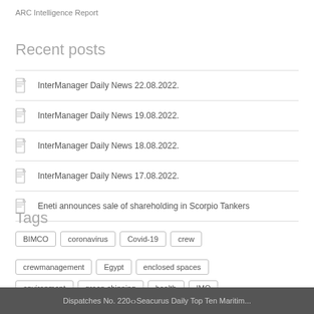ARC Intelligence Report
Recent posts
InterManager Daily News 22.08.2022.
InterManager Daily News 19.08.2022.
InterManager Daily News 18.08.2022.
InterManager Daily News 17.08.2022.
Eneti announces sale of shareholding in Scorpio Tankers
Tags
BIMCO
coronavirus
Covid-19
crew
crewmanagement
Egypt
enclosed spaces
environment
green shipping
health
IMO
Dispatches No. 220  < >  Seacurus Daily Top Ten Maritim...